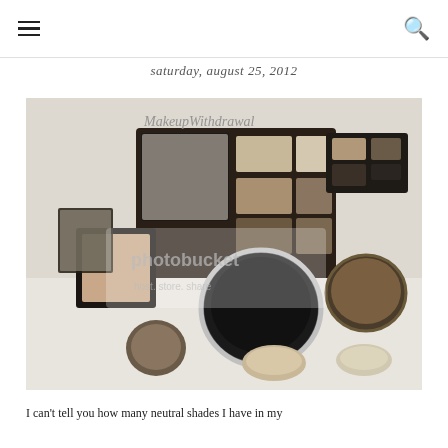≡  [hamburger menu]  |  [search icon]
saturday, august 25, 2012
[Figure (photo): Flat lay of several makeup eyeshadow palettes and compacts in neutral/brown shades, displayed on a white surface. Includes a large 6-pan palette opened, a smaller 2-pan palette, individual single pan compacts, and round loose compacts. A Photobucket watermark overlay is visible. The image has the text 'MakeupWithdrawal' in the upper left corner.]
I can't tell you how many neutral shades I have in my